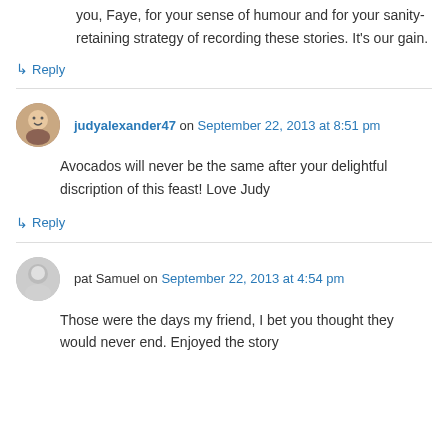you, Faye, for your sense of humour and for your sanity-retaining strategy of recording these stories. It's our gain.
↳ Reply
judyalexander47 on September 22, 2013 at 8:51 pm
Avocados will never be the same after your delightful discription of this feast! Love Judy
↳ Reply
pat Samuel on September 22, 2013 at 4:54 pm
Those were the days my friend, I bet you thought they would never end. Enjoyed the story